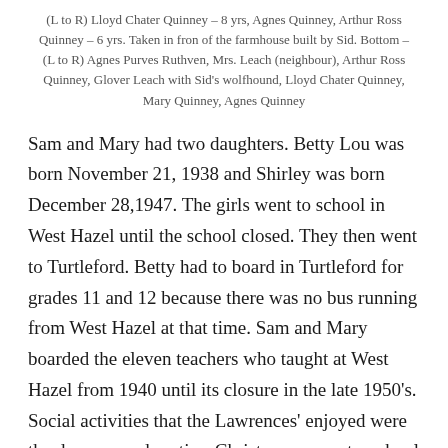(L to R) Lloyd Chater Quinney – 8 yrs, Agnes Quinney, Arthur Ross Quinney – 6 yrs. Taken in fron of the farmhouse built by Sid. Bottom – (L to R) Agnes Purves Ruthven, Mrs. Leach (neighbour), Arthur Ross Quinney, Glover Leach with Sid's wolfhound, Lloyd Chater Quinney, Mary Quinney, Agnes Quinney
Sam and Mary had two daughters. Betty Lou was born November 21, 1938 and Shirley was born December 28,1947. The girls went to school in West Hazel until the school closed. They then went to Turtleford. Betty had to board in Turtleford for grades 11 and 12 because there was no bus running from West Hazel at that time. Sam and Mary boarded the eleven teachers who taught at West Hazel from 1940 until its closure in the late 1950's. Social activities that the Lawrences' enjoyed were the dances, card parties, Christmas concerts, school picnics, ball games and church services, all held